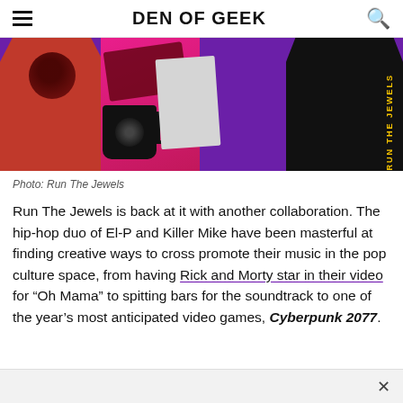DEN OF GEEK
[Figure (photo): Merchandise items including a red t-shirt, pink background items, a black mug, a poster, and a black hoodie with yellow text, all on a purple background. Run The Jewels merchandise spread.]
Photo: Run The Jewels
Run The Jewels is back at it with another collaboration. The hip-hop duo of El-P and Killer Mike have been masterful at finding creative ways to cross promote their music in the pop culture space, from having Rick and Morty star in their video for “Oh Mama” to spitting bars for the soundtrack to one of the year’s most anticipated video games, Cyberpunk 2077.